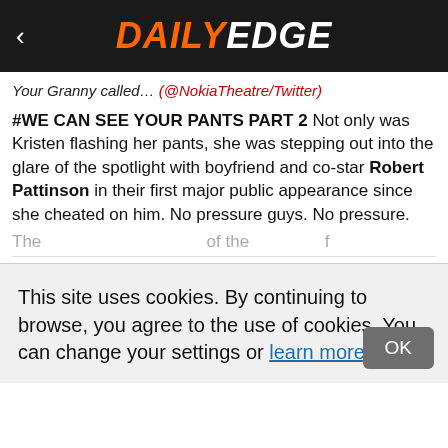DAILY EDGE
Your Granny called… (@NokiaTheatre/Twitter)
#WE CAN SEE YOUR PANTS PART 2 Not only was Kristen flashing her pants, she was stepping out into the glare of the spotlight with boyfriend and co-star Robert Pattinson in their first major public appearance since she cheated on him. No pressure guys. No pressure.
This site uses cookies. By continuing to browse, you agree to the use of cookies. You can change your settings or learn more here.